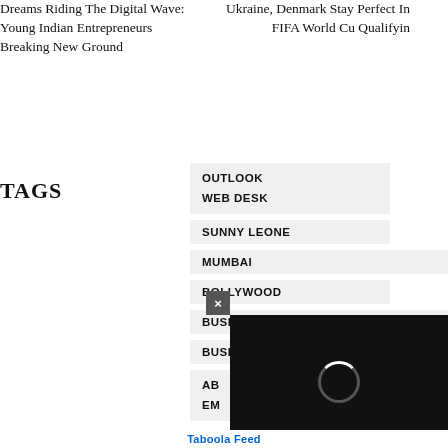Dreams Riding The Digital Wave: Young Indian Entrepreneurs Breaking New Ground
Ukraine, Denmark Stay Perfect In FIFA World Cup Qualifying
TAGS
OUTLOOK WEB DESK
SUNNY LEONE
MUMBAI
BOLLYWOOD
BUSINESS
BUSINESS
AB... EM...
[Figure (other): Video overlay with close button and spinner, Taboola Feed bar at bottom]